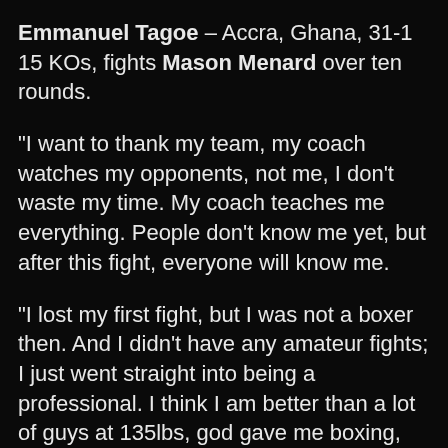Emmanuel Tagoe – Accra, Ghana, 31-1 15 KOs, fights Mason Menard over ten rounds.
“I want to thank my team, my coach watches my opponents, not me, I don’t waste my time. My coach teaches me everything. People don’t know me yet, but after this fight, everyone will know me.
“I lost my first fight, but I was not a boxer then. And I didn’t have any amateur fights; I just went straight into being a professional. I think I am better than a lot of guys at 135lbs, god gave me boxing, and I know I can beat